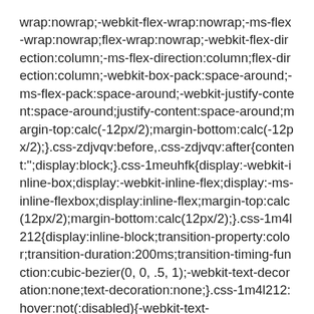wrap:nowrap;-webkit-flex-wrap:nowrap;-ms-flex-wrap:nowrap;flex-wrap:nowrap;-webkit-flex-direction:column;-ms-flex-direction:column;flex-direction:column;-webkit-box-pack:space-around;-ms-flex-pack:space-around;-webkit-justify-content:space-around;justify-content:space-around;margin-top:calc(-12px/2);margin-bottom:calc(-12px/2);}.css-zdjvqv:before,.css-zdjvqv:after{content:'';display:block;}.css-1meuhfk{display:-webkit-inline-box;display:-webkit-inline-flex;display:-ms-inline-flexbox;display:inline-flex;margin-top:calc(12px/2);margin-bottom:calc(12px/2);}.css-1m4l212{display:inline-block;transition-property:color;transition-duration:200ms;transition-timing-function:cubic-bezier(0, 0, .5, 1);-webkit-text-decoration:none;text-decoration:none;}.css-1m4l212:hover:not(:disabled){-webkit-text-